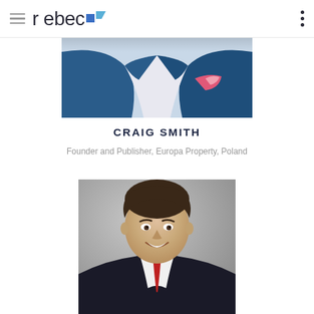rebec
[Figure (photo): Partial photo of a person in a blue suit with white shirt and floral pocket square, cropped to show torso only]
CRAIG SMITH
Founder and Publisher, Europa Property, Poland
[Figure (photo): Portrait photo of a smiling man in a dark suit with red tie, against a gray background]